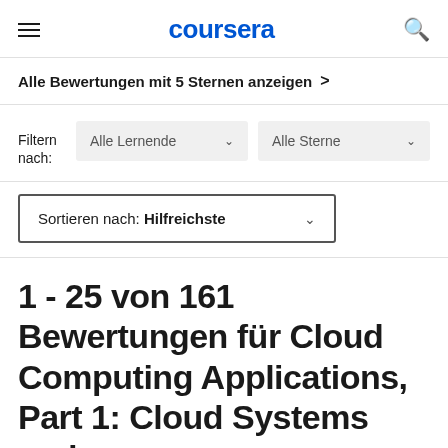coursera
Alle Bewertungen mit 5 Sternen anzeigen
Filtern nach: Alle Lernende  Alle Sterne
Sortieren nach: Hilfreichste
1 - 25 von 161 Bewertungen für Cloud Computing Applications, Part 1: Cloud Systems and